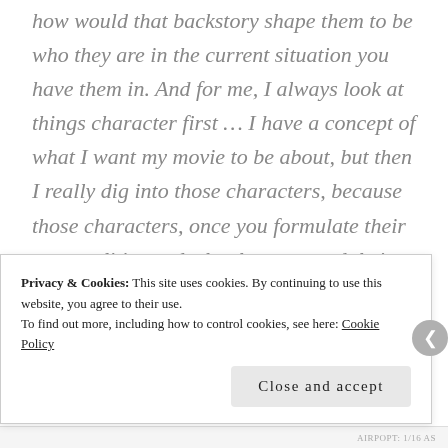how would that backstory shape them to be who they are in the current situation you have them in. And for me, I always look at things character first ... I have a concept of what I want my movie to be about, but then I really dig into those characters, because those characters, once you formulate their personalities and who they are, and their relationships and how they interact with each other, and what they need to learn over the course of the journey that you're
Privacy & Cookies: This site uses cookies. By continuing to use this website, you agree to their use.
To find out more, including how to control cookies, see here: Cookie Policy
Close and accept
AIRPOPT: 1/16 AS